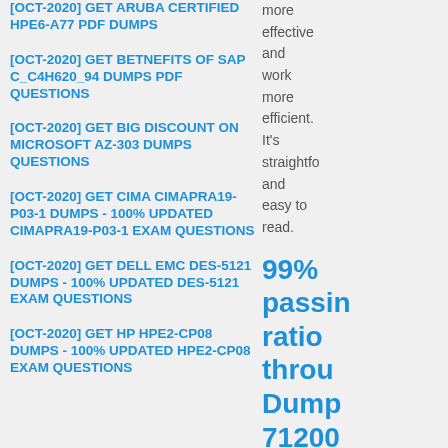[OCT-2020] GET ARUBA CERTIFIED HPE6-A77 PDF DUMPS
[OCT-2020] GET BETNEFITS OF SAP C_C4H620_94 DUMPS PDF QUESTIONS
[OCT-2020] GET BIG DISCOUNT ON MICROSOFT AZ-303 DUMPS QUESTIONS
[OCT-2020] GET CIMA CIMAPRA19-P03-1 DUMPS - 100% UPDATED CIMAPRA19-P03-1 EXAM QUESTIONS
[OCT-2020] GET DELL EMC DES-5121 DUMPS - 100% UPDATED DES-5121 EXAM QUESTIONS
[OCT-2020] GET HP HPE2-CP08 DUMPS - 100% UPDATED HPE2-CP08 EXAM QUESTIONS
more effective and work more efficient. It's straightforward and easy to read.
99% passing ratio through Dump 71200